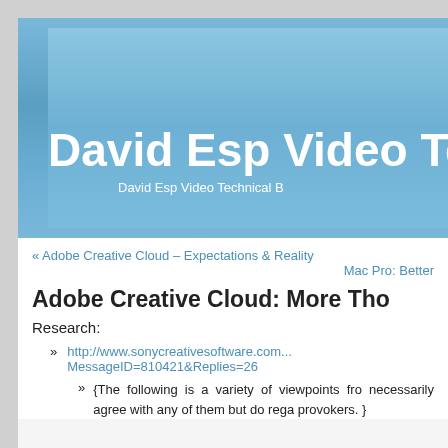David Esp Video Te...
David Esp Video Technical B...
« Adobe Creative Cloud – Expectations & Reality
Mac Pro: Better...
Adobe Creative Cloud: More Tho...
Research:
http://www.sonycreativesoftware.com...MessageID=810421&Replies=26
{The following is a variety of viewpoints fro... necessarily agree with any of them but do rega... provokers. }